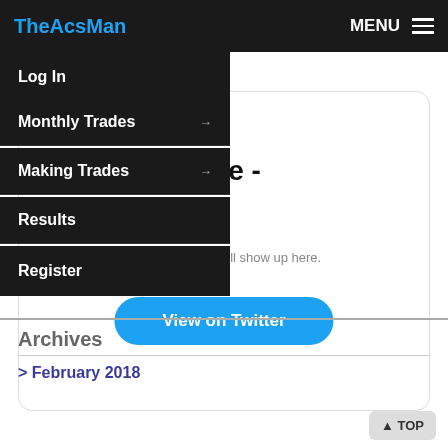TheAcsMan | MENU
Log In
Monthly Trades →
Making Trades →
Results
Register
...hing to see here -
When they Tweet, their Tweets will show up here.
View on Twitter
Archives
> February 2018